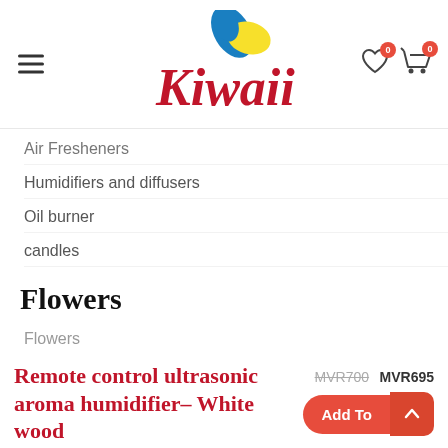[Figure (logo): Kiwaii brand logo with butterfly graphic in blue and yellow, red cursive text]
Air Fresheners
Humidifiers and diffusers
Oil burner
candles
Flowers
Flowers
Remote control ultrasonic aroma humidifier- White wood
MVR700  MVR695